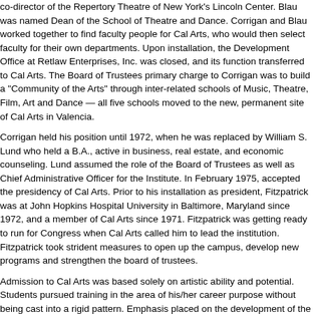co-director of the Repertory Theatre of New York's Lincoln Center. Blau was named Dean of the School of Theatre and Dance. Corrigan and Blau worked together to find faculty people for Cal Arts, who would then select faculty for their own departments. Upon installation, the Development Office at Retlaw Enterprises, Inc. was closed, and its function transferred to Cal Arts. The Board of Trustees primary charge to Corrigan was to build a "Community of the Arts" through inter-related schools of Music, Theatre, Film, Art and Dance all five schools moved to the new, permanent site of Cal Arts in Valencia.
Corrigan held his position until 1972, when he was replaced by William S. Lund who held a B.A., active in business, real estate, and economic counseling. Lund assumed the role of the Board of Trustees as well as Chief Administrative Officer for the Institute. In February 1975, accepted the presidency of Cal Arts. Prior to his installation as president, Fitzpatrick was at John Hopkins Hospital University in Baltimore, Maryland since 1972, and a member of Cal Arts since 1971. Fitzpatrick was getting ready to run for Congress when Cal Arts called him to lead the institution. Fitzpatrick took strident measures to open up the campus, develop new programs and strengthen the board of trustees.
Admission to Cal Arts was based solely on artistic ability and potential. Students pursued training in the area of his/her career purpose without being cast into a rigid pattern. Emphasis placed on the development of the professional artist – the artist of tomorrow. “The vision of Walt Disney, “for a professional school which will not only give its students thorough artistic training but also allow the widest possible range of artistic growth and expression.”
Bibliography
Economic Research Associates. “ A Historical Summary of Cal Arts,” July 13, 19…
Real, James. “ When You Wish Upon A School,” in West, 1972.